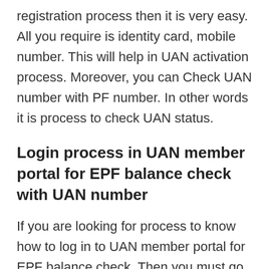registration process then it is very easy. All you require is identity card, mobile number. This will help in UAN activation process. Moreover, you can Check UAN number with PF number. In other words it is process to check UAN status.
Login process in UAN member portal for EPF balance check with UAN number
If you are looking for process to know how to log in to UAN member portal for EPF balance check. Then you must go to EPFO-UAN member portal. Enter required details. You